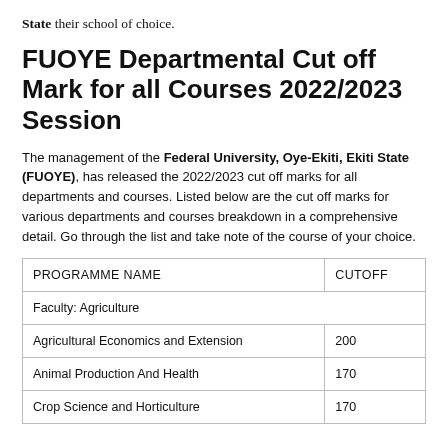State their school of choice.
FUOYE Departmental Cut off Mark for all Courses 2022/2023 Session
The management of the Federal University, Oye-Ekiti, Ekiti State (FUOYE), has released the 2022/2023 cut off marks for all departments and courses. Listed below are the cut off marks for various departments and courses breakdown in a comprehensive detail. Go through the list and take note of the course of your choice.
| PROGRAMME NAME | CUTOFF |
| --- | --- |
| Faculty: Agriculture |  |
| Agricultural Economics and Extension | 200 |
| Animal Production And Health | 170 |
| Crop Science and Horticulture | 170 |